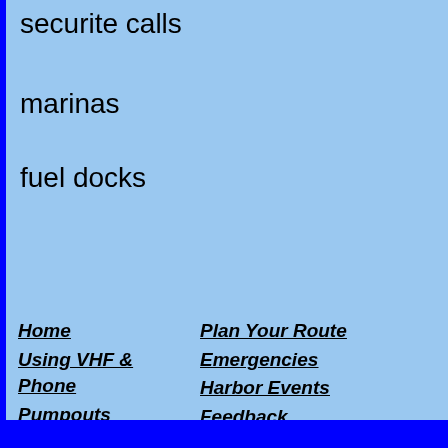securite calls
marinas
fuel docks
Home
Using VHF & Phone
Pumpouts
Buy & Sell
Plan Your Route
Emergencies
Harbor Events
Feedback
No Boating Are...
Weather
Marinas & Boa...
About Us
-